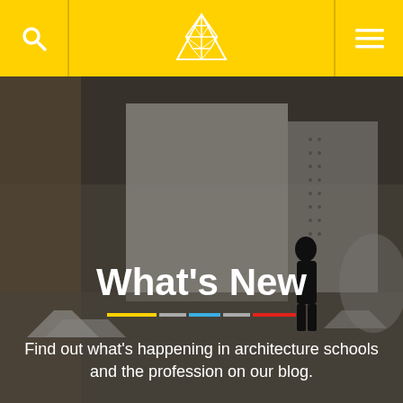[Figure (screenshot): Yellow navigation header bar with search icon on left, geometric A logo in center, hamburger menu on right]
[Figure (photo): Background photo of an architecture studio/warehouse interior with a person standing near large white panels. Architectural models on the floor. Overlaid with dark transparent layer.]
What’s New
Find out what’s happening in architecture schools and the profession on our blog.